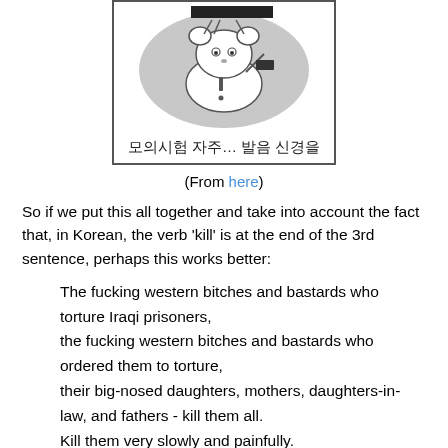[Figure (illustration): A comic strip panel showing a cartoon mouse-like character with an exclamation mark, with Korean text at the bottom reading '모의시험 자주… 발음 신경을']
(From here)
So if we put this all together and take into account the fact that, in Korean, the verb 'kill' is at the end of the 3rd sentence, perhaps this works better:
The fucking western bitches and bastards who torture Iraqi prisoners,
the fucking western bitches and bastards who ordered them to torture,
their big-nosed daughters, mothers, daughters-in-law, and fathers - kill them all.
Kill them very slowly and painfully.
Put it that way, and suddenly it doesn't seem to be about